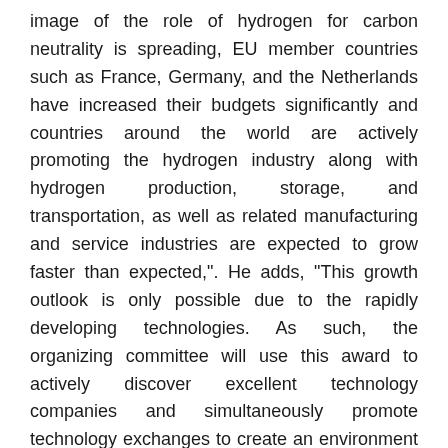image of the role of hydrogen for carbon neutrality is spreading, EU member countries such as France, Germany, and the Netherlands have increased their budgets significantly and countries around the world are actively promoting the hydrogen industry along with hydrogen production, storage, and transportation, as well as related manufacturing and service industries are expected to grow faster than expected,". He adds, “This growth outlook is only possible due to the rapidly developing technologies. As such, the organizing committee will use this award to actively discover excellent technology companies and simultaneously promote technology exchanges to create an environment for companies to grow across the hydrogen value chain.”
Meanwhile, the 2022 Hydrogen Mobility + Show, where visitors can see the award entries and various hydrogen technologies from domestic and foreign